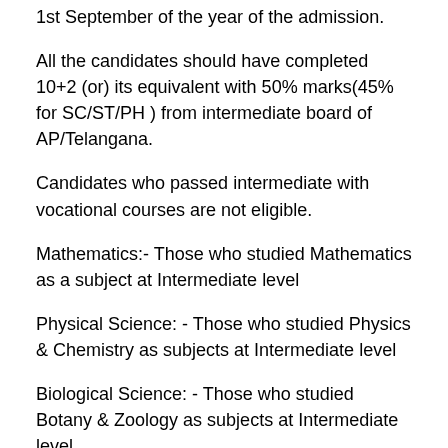1st September of the year of the admission.
All the candidates should have completed 10+2 (or) its equivalent with 50% marks(45% for SC/ST/PH ) from intermediate board of AP/Telangana.
Candidates who passed intermediate with vocational courses are not eligible.
Mathematics:- Those who studied Mathematics as a subject at Intermediate level
Physical Science: - Those who studied Physics & Chemistry as subjects at Intermediate level
Biological Science: - Those who studied Botany & Zoology as subjects at Intermediate level